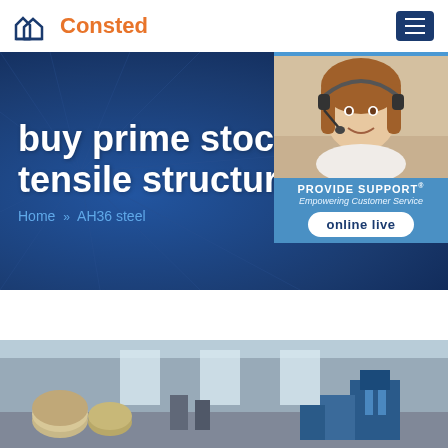Consted
[Figure (screenshot): Website hero banner with dark blue background showing text 'buy prime stock 1 892 tensile structural' with breadcrumb navigation 'Home >> AH36 steel', and a customer support widget on the right showing '24/7 Online', a photo of a woman with a headset, 'PROVIDE SUPPORT® Empowering Customer Service', and an 'online live' button]
[Figure (photo): Factory interior showing industrial steel coils and machinery, blueish-gray tone]